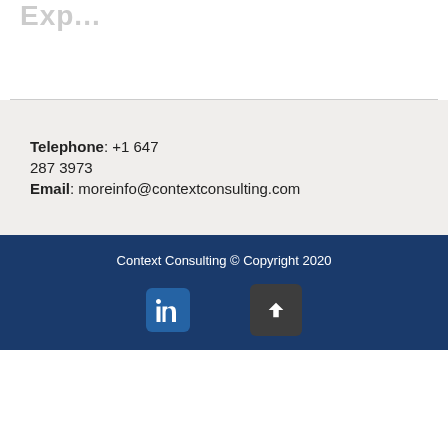Telephone: +1 647 287 3973
Email: moreinfo@contextconsulting.com
Context Consulting © Copyright 2020